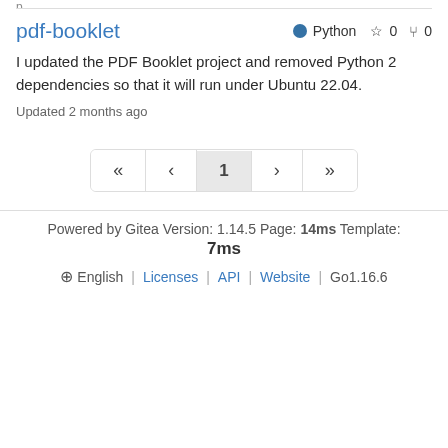pdf-booklet
Python ☆ 0 ⑂ 0
I updated the PDF Booklet project and removed Python 2 dependencies so that it will run under Ubuntu 22.04.
Updated 2 months ago
[Figure (other): Pagination control with buttons: «, <, 1 (active/selected), >, »]
Powered by Gitea Version: 1.14.5 Page: 14ms Template: 7ms
⊕ English | Licenses | API | Website | Go1.16.6